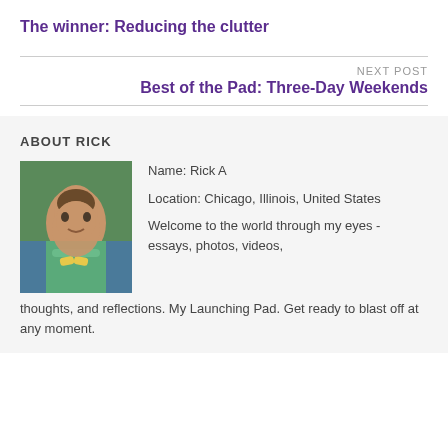The winner: Reducing the clutter
NEXT POST
Best of the Pad: Three-Day Weekends
ABOUT RICK
[Figure (photo): Portrait photo of Rick A, a man smiling, wearing a green shirt and bow tie, outdoors near water and buildings.]
Name: Rick A
Location: Chicago, Illinois, United States
Welcome to the world through my eyes - essays, photos, videos, thoughts, and reflections. My Launching Pad. Get ready to blast off at any moment.